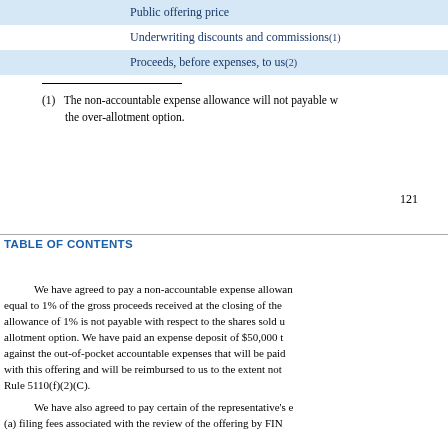|  |  |
| --- | --- |
| Public offering price |  |
| Underwriting discounts and commissions(1) |  |
| Proceeds, before expenses, to us(2) |  |
(1)   The non-accountable expense allowance will not payable with respect to the shares sold upon exercise of the over-allotment option.
121
TABLE OF CONTENTS
We have agreed to pay a non-accountable expense allowance equal to 1% of the gross proceeds received at the closing of the allowance of 1% is not payable with respect to the shares sold upon the over-allotment option. We have paid an expense deposit of $50,000 to against the out-of-pocket accountable expenses that will be paid in connection with this offering and will be reimbursed to us to the extent not used, under FINRA Rule 5110(f)(2)(C).
We have also agreed to pay certain of the representative's expenses, including (a) filing fees associated with the review of the offering by FINRA